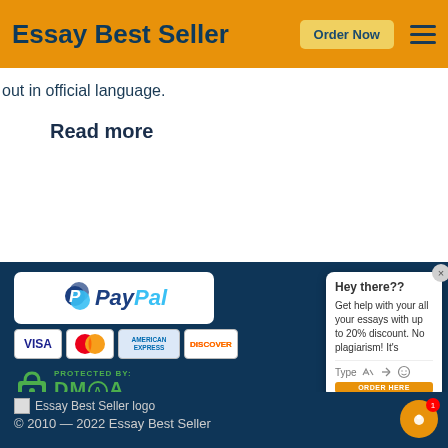Essay Best Seller | Order Now
out in official language.
Read more
[Figure (logo): PayPal logo in white rounded rectangle]
[Figure (logo): Payment card badges: VISA, Mastercard, American Express, Discover]
[Figure (logo): DMCA Protected By badge with green padlock icon]
[Figure (screenshot): Chat popup: Hey there?? Get help with your all your essays with up to 20% discount. No plagiarism! It's — Type with emoji icons and ORDER HERE button]
Essay Best Seller logo © 2010 — 2022 Essay Best Seller